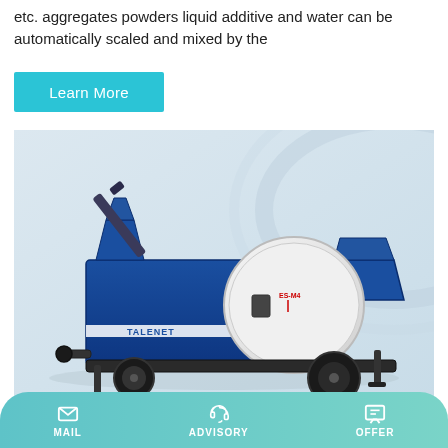etc. aggregates powders liquid additive and water can be automatically scaled and mixed by the
Learn More
[Figure (photo): Blue TALENET brand concrete mixer pump machine on a light background]
Dry Mortar Plant - Find Dry Mix
MAIL  ADVISORY  OFFER